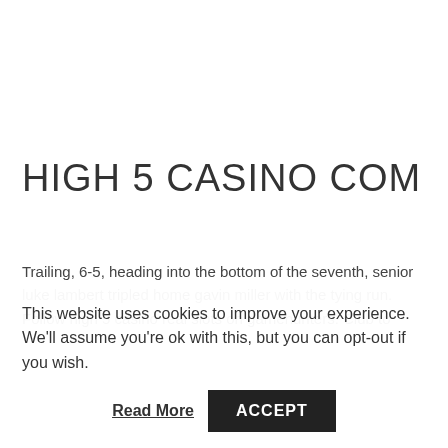HIGH 5 CASINO COM
Trailing, 6-5, heading into the bottom of the seventh, senior luke lambert tripled home gavin miller with the tying run. Follow high 5 casino real slots on gamehunters. Club to
This website uses cookies to improve your experience. We'll assume you're ok with this, but you can opt-out if you wish.
Read More  ACCEPT